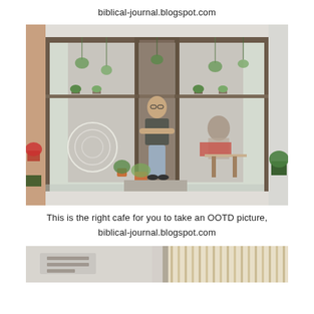biblical-journal.blogspot.com
[Figure (photo): Person standing in front of a glass-fronted cafe with plants hanging inside and outside, potted plants near entrance, other customers visible inside seated at tables.]
This is the right cafe for you to take an OOTD picture,
biblical-journal.blogspot.com
[Figure (photo): Partial bottom image showing interior of cafe with wooden slat wall panels and light-colored surfaces.]